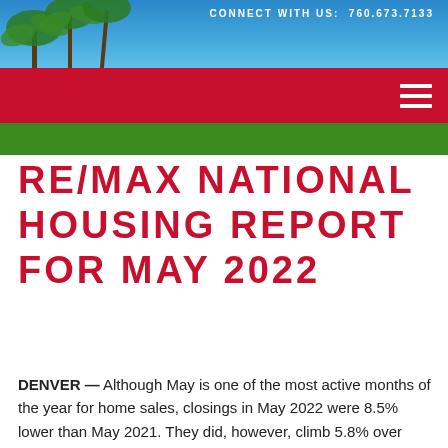[Figure (photo): Aerial/landscape photo of a desert resort area with palm trees, blue sky, mountains, and green golf course lawn. A red navigation bar overlays the middle of the image.]
CONNECT WITH US:  760.673.7133
RE/MAX NATIONAL HOUSING REPORT FOR MAY 2022
DENVER — Although May is one of the most active months of the year for home sales, closings in May 2022 were 8.5% lower than May 2021. They did, however, climb 5.8% over April. That month over month increase was approximately